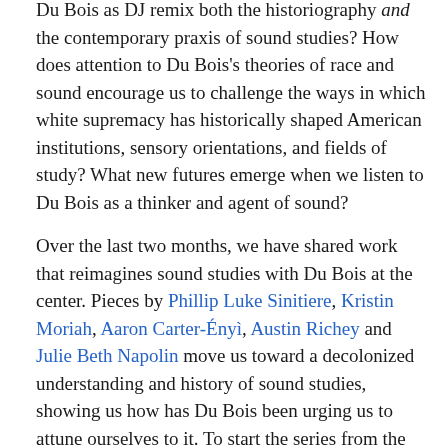Du Bois as DJ remix both the historiography and the contemporary praxis of sound studies? How does attention to Du Bois's theories of race and sound encourage us to challenge the ways in which white supremacy has historically shaped American institutions, sensory orientations, and fields of study? What new futures emerge when we listen to Du Bois as a thinker and agent of sound?
Over the last two months, we have shared work that reimagines sound studies with Du Bois at the center. Pieces by Phillip Luke Sinitiere, Kristin Moriah, Aaron Carter-Ényì, Austin Richey and Julie Beth Napolin move us toward a decolonized understanding and history of sound studies, showing us how has Du Bois been urging us to attune ourselves to it. To start the series from the beginning, click here.